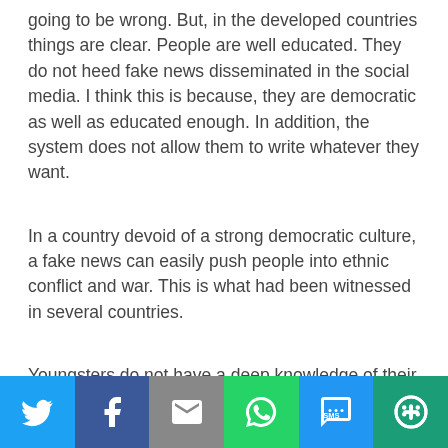going to be wrong. But, in the developed countries things are clear. People are well educated. They do not heed fake news disseminated in the social media. I think this is because, they are democratic as well as educated enough. In addition, the system does not allow them to write whatever they want.
In a country devoid of a strong democratic culture, a fake news can easily push people into ethnic conflict and war. This is what had been witnessed in several countries.
Youngsters do not have a deep knowledge of their country and people. Even they are seen forgetting their useful
[Figure (infographic): Social media sharing bar with Twitter, Facebook, Email, WhatsApp, SMS, and More buttons]